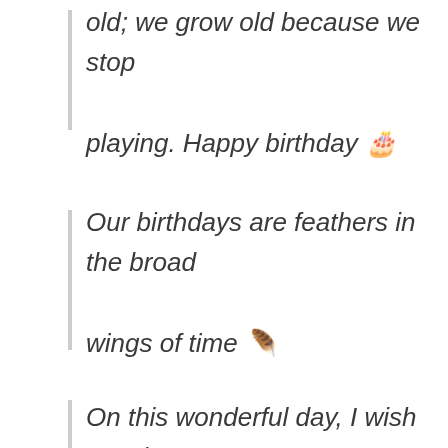old; we grow old because we stop playing. Happy birthday 🎂
Our birthdays are feathers in the broad wings of time 🪶
On this wonderful day, I wish you the